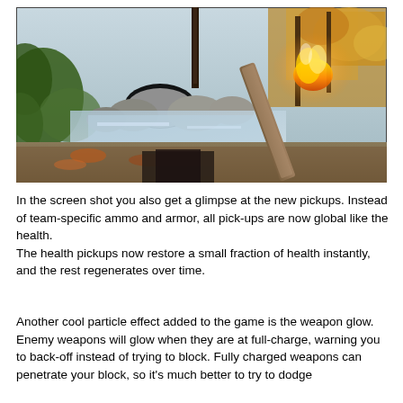[Figure (screenshot): A video game screenshot showing a first-person perspective with a torch/flaming weapon in the right foreground, rocks, a stream, green foliage, and autumn trees in the background.]
In the screen shot you also get a glimpse at the new pickups. Instead of team-specific ammo and armor, all pick-ups are now global like the health.
The health pickups now restore a small fraction of health instantly, and the rest regenerates over time.
Another cool particle effect added to the game is the weapon glow. Enemy weapons will glow when they are at full-charge, warning you to back-off instead of trying to block. Fully charged weapons can penetrate your block, so it's much better to try to dodge